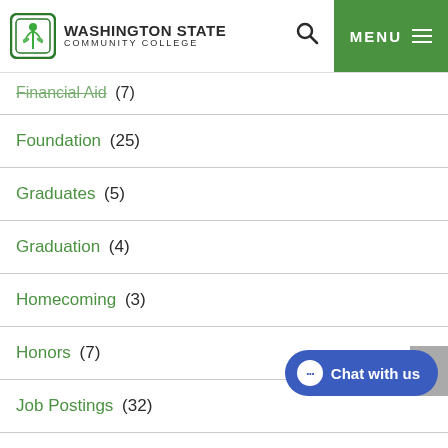Washington State Community College
Financial Aid (7)
Foundation (25)
Graduates (5)
Graduation (4)
Homecoming (3)
Honors (7)
Job Postings (32)
Leadership (1)
News (280)
On Campus (8)
Partnerships (4)